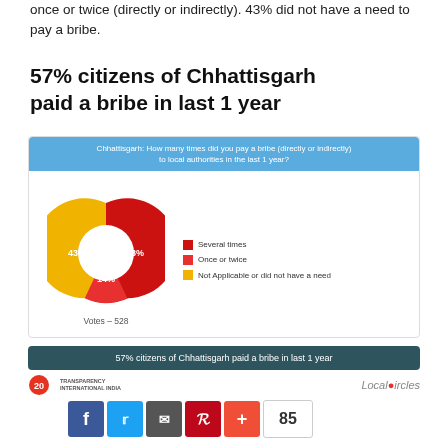once or twice (directly or indirectly). 43% did not have a need to pay a bribe.
57% citizens of Chhattisgarh paid a bribe in last 1 year
[Figure (donut-chart): Chhattisgarh: How many times did you pay a bribe (directly or indirectly) to local authorities in the last 1 year?]
57% citizens of Chhattisgarh paid a bribe in last 1 year